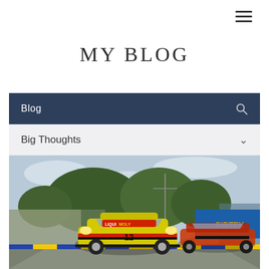≡ (hamburger menu icon)
MY BLOG
Blog
Big Thoughts
[Figure (photo): Yellow Porsche 911 GT3 Cup race car with Liqui Moly sponsorship on a racing circuit, with PIRTEK advertising board and trees in background]